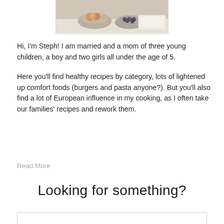[Figure (photo): Partial photo of food/fruit bowls on a table, cropped at the top of the page]
Hi, I'm Steph! I am married and a mom of three young children, a boy and two girls all under the age of 5.
Here you'll find healthy recipes by category, lots of lightened up comfort foods (burgers and pasta anyone?).  But you'll also find a lot of European influence in my cooking, as I often take our families' recipes and rework them.
Read More
Looking for something?